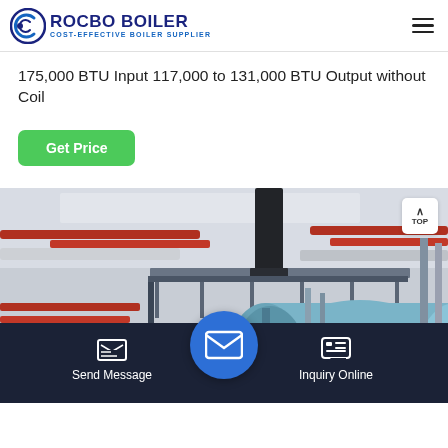[Figure (logo): Rocbo Boiler logo with circular C icon and text 'ROCBO BOILER / COST-EFFECTIVE BOILER SUPPLIER' in navy/blue]
175,000 BTU Input 117,000 to 131,000 BTU Output without Coil
Get Price
[Figure (photo): Industrial boiler room photo showing a large light-blue cylindrical boiler unit with red and white pipes, metal walkway/catwalk above, black exhaust stack, and industrial ceiling. A 'TOP' navigation button is visible in upper right.]
Send Message
Inquiry Online